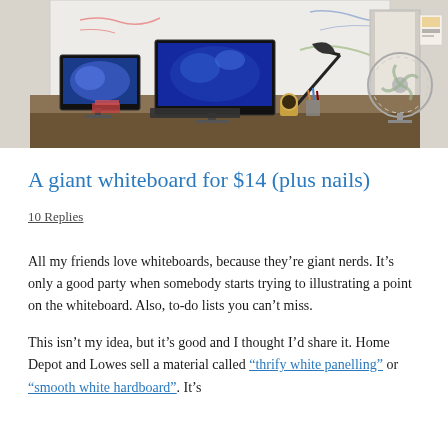[Figure (photo): Photo of a home desk setup with two computer monitors, a lamp, keyboard, and items on the desk. Behind the desk is a large whiteboard on the wall with some writing. A fan is visible on the right side.]
A giant whiteboard for $14 (plus nails)
10 Replies
All my friends love whiteboards, because they’re giant nerds. It’s only a good party when somebody starts trying to illustrating a point on the whiteboard. Also, to-do lists you can’t miss.
This isn’t my idea, but it’s good and I thought I’d share it. Home Depot and Lowes sell a material called “thrify white panelling” or “smooth white hardboard”. It’s